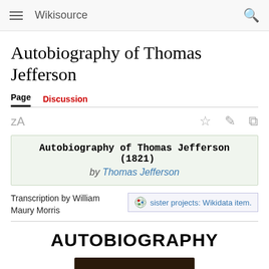Wikisource
Autobiography of Thomas Jefferson
Page   Discussion
Autobiography of Thomas Jefferson (1821) by Thomas Jefferson
Transcription by William Maury Morris
sister projects: Wikidata item.
AUTOBIOGRAPHY
[Figure (photo): Dark brown photographic image at bottom of page, partially visible]